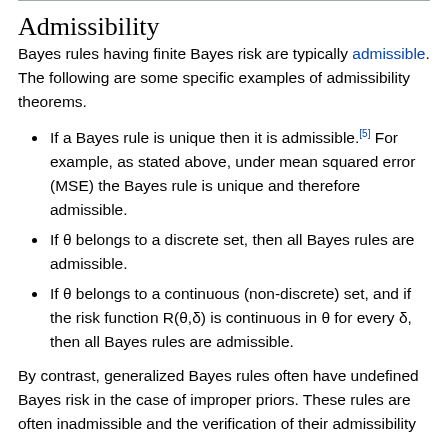Admissibility
Bayes rules having finite Bayes risk are typically admissible. The following are some specific examples of admissibility theorems.
If a Bayes rule is unique then it is admissible.[5] For example, as stated above, under mean squared error (MSE) the Bayes rule is unique and therefore admissible.
If θ belongs to a discrete set, then all Bayes rules are admissible.
If θ belongs to a continuous (non-discrete) set, and if the risk function R(θ,δ) is continuous in θ for every δ, then all Bayes rules are admissible.
By contrast, generalized Bayes rules often have undefined Bayes risk in the case of improper priors. These rules are often inadmissible and the verification of their admissibility